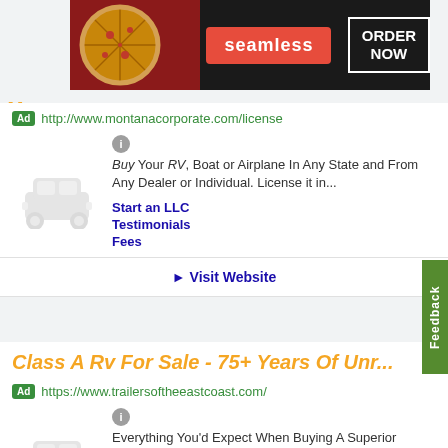[Figure (screenshot): Seamless food delivery banner ad with pizza image, red Seamless logo badge, and ORDER NOW button in white box on dark background]
Mo...
Ad  http://www.montanacorporate.com/license
Buy Your RV, Boat or Airplane In Any State and From Any Dealer or Individual. License it in...
Start an LLC
Testimonials
Fees
► Visit Website
Class A Rv For Sale - 75+ Years Of Unr...
Ad  https://www.trailersoftheeastcoast.com/
Everything You'd Expect When Buying A Superior Quality RV. See For Yourself Here
Shop Certified Pre-Owned
Online Showroom
Custom Trailer Designs
Parts